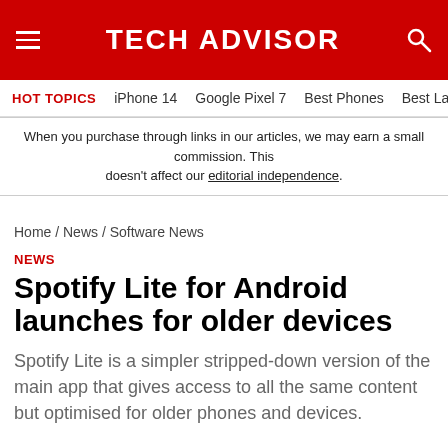TECH ADVISOR
HOT TOPICS   iPhone 14   Google Pixel 7   Best Phones   Best Lapt
When you purchase through links in our articles, we may earn a small commission. This doesn't affect our editorial independence.
Home / News / Software News
NEWS
Spotify Lite for Android launches for older devices
Spotify Lite is a simpler stripped-down version of the main app that gives access to all the same content but optimised for older phones and devices.